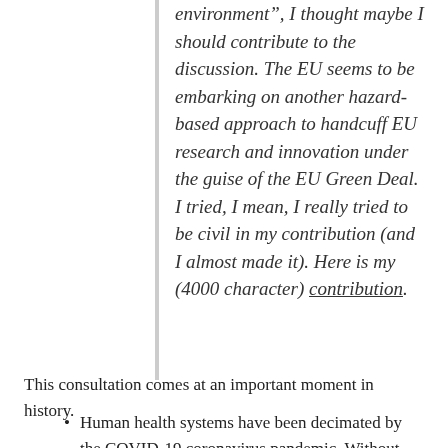environment”, I thought maybe I should contribute to the discussion. The EU seems to be embarking on another hazard-based approach to handcuff EU research and innovation under the guise of the EU Green Deal. I tried, I mean, I really tried to be civil in my contribution (and I almost made it). Here is my (4000 character) contribution.
This consultation comes at an important moment in history.
Human health systems have been decimated by the COVID-19 coronavirus pandemic. Without strong (toxic) disinfecting chemicals, innovative